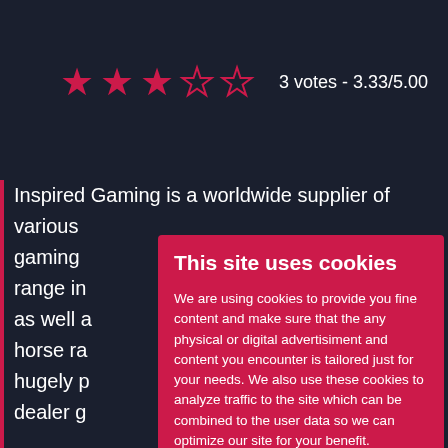[Figure (other): Star rating: 3 filled stars and 2 empty stars]
3 votes - 3.33/5.00
Inspired Gaming is a worldwide supplier of various gaming [products, offering] range in[cluding] as well a[s] horse ra[cing,] hugely p[opular] dealer g[ames]
They be[came] products[,] ten peo[ple] specialis[ts] impleme[nting] Inspired
This site uses cookies
We are using cookies to provide you fine content and make sure that the any physical or digital advertisiment and content you encounter is tailored just for your needs. We also use these cookies to analyze traffic to the site which can be combined to the user data so we can optimize our site for your benefit.
By using this site you accept the usage of the following cookies and policies represented below. If you wish, you can see make changes and see the cookie policy from below.
Cookies OK, save settings
Click here show the details